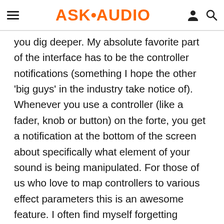ASK•AUDIO
you dig deeper. My absolute favorite part of the interface has to be the controller notifications (something I hope the other 'big guys' in the industry take notice of). Whenever you use a controller (like a fader, knob or button) on the forte, you get a notification at the bottom of the screen about specifically what element of your sound is being manipulated. For those of us who love to map controllers to various effect parameters this is an awesome feature. I often find myself forgetting exactly what I mapped that third fader on a specific patch to do, and now the moment I touch it I see 'Delay Time' appear on the screen. It sounds like a small thing, but you deep tweakers out